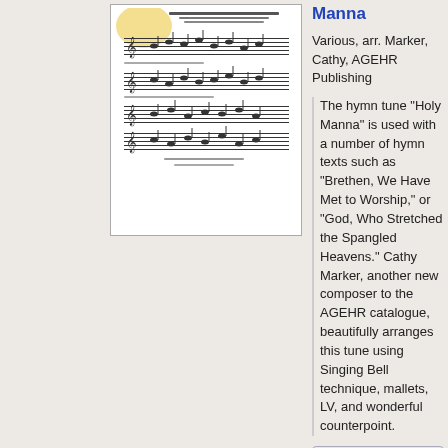[Figure (illustration): Thumbnail image of sheet music for Holy Manna, showing musical notation on staff lines]
Manna
Various, arr. Marker, Cathy, AGEHR Publishing
The hymn tune "Holy Manna" is used with a number of hymn texts such as "Brethen, We Have Met to Worship," or "God, Who Stretched the Spangled Heavens." Cathy Marker, another new composer to the AGEHR catalogue, beautifully arranges this tune using Singing Bell technique, mallets, LV, and wonderful counterpoint.
[Figure (screenshot): Preview button with icon]
[Figure (screenshot): Digital Direct button with icon]